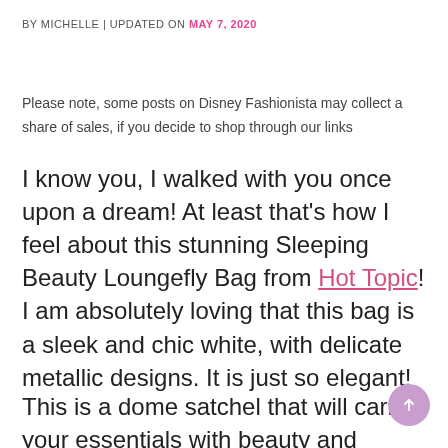BY MICHELLE | UPDATED ON MAY 7, 2020
Please note, some posts on Disney Fashionista may collect a share of sales, if you decide to shop through our links
I know you, I walked with you once upon a dream! At least that's how I feel about this stunning Sleeping Beauty Loungefly Bag from Hot Topic! I am absolutely loving that this bag is a sleek and chic white, with delicate metallic designs. It is just so elegant!
This is a dome satchel that will carry your essentials with beauty and grace. Fans are always looking for